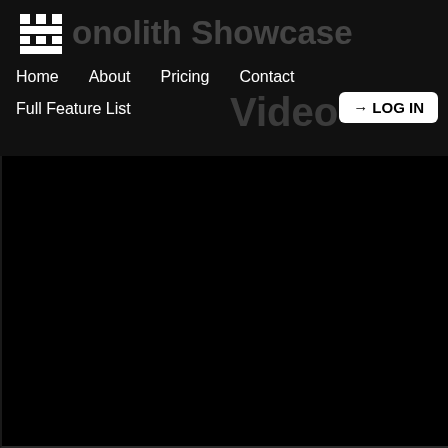[Figure (logo): Monolith app logo: white pixel-art castle/grid icon on dark background]
Monolith Showcase Video
Home  About  Pricing  Contact  Full Feature List  LOG IN